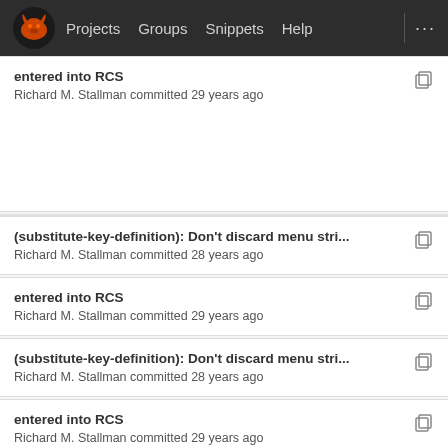Projects  Groups  Snippets  Help
entered into RCS
Richard M. Stallman committed 29 years ago
(substitute-key-definition): Don't discard menu stri...
Richard M. Stallman committed 28 years ago
entered into RCS
Richard M. Stallman committed 29 years ago
(substitute-key-definition): Don't discard menu stri...
Richard M. Stallman committed 28 years ago
entered into RCS
Richard M. Stallman committed 29 years ago
(substitute-key-definition): Skip cached menu key-...